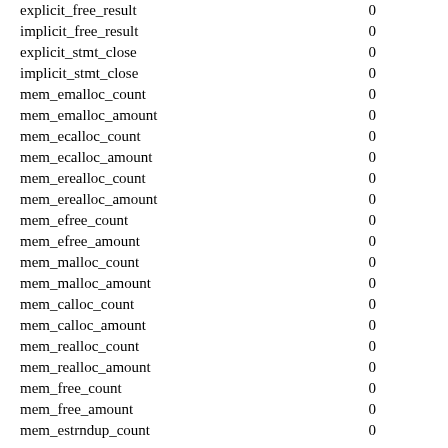| name | value |
| --- | --- |
| explicit_free_result | 0 |
| implicit_free_result | 0 |
| explicit_stmt_close | 0 |
| implicit_stmt_close | 0 |
| mem_emalloc_count | 0 |
| mem_emalloc_amount | 0 |
| mem_ecalloc_count | 0 |
| mem_ecalloc_amount | 0 |
| mem_erealloc_count | 0 |
| mem_erealloc_amount | 0 |
| mem_efree_count | 0 |
| mem_efree_amount | 0 |
| mem_malloc_count | 0 |
| mem_malloc_amount | 0 |
| mem_calloc_count | 0 |
| mem_calloc_amount | 0 |
| mem_realloc_count | 0 |
| mem_realloc_amount | 0 |
| mem_free_count | 0 |
| mem_free_amount | 0 |
| mem_estrndup_count | 0 |